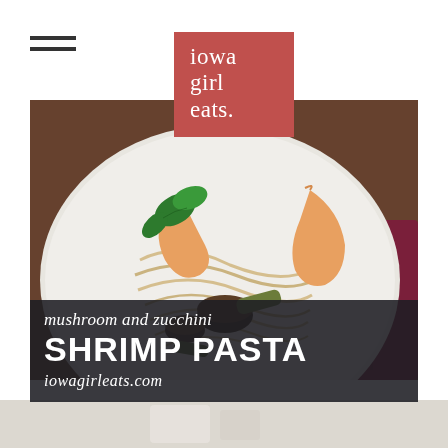[Figure (logo): Iowa Girl Eats logo: coral/salmon red rectangle with white serif text reading 'iowa girl eats.']
[Figure (photo): Close-up food photograph of a white plate with shrimp pasta, mushrooms, zucchini, and fresh basil leaves. Dark wooden background with a crimson cloth napkin.]
mushroom and zucchini SHRIMP PASTA iowagirleats.com
[Figure (photo): Partial view of another food photo at the bottom of the page, light background.]